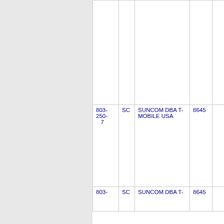| Phone | State | Carrier Name | Num |  |
| --- | --- | --- | --- | --- |
| 803-250-7 | SC | SUNCOM DBA T-MOBILE USA | 8645 |  |
| 803- | SC | SUNCOM DBA T- | 8645 |  |